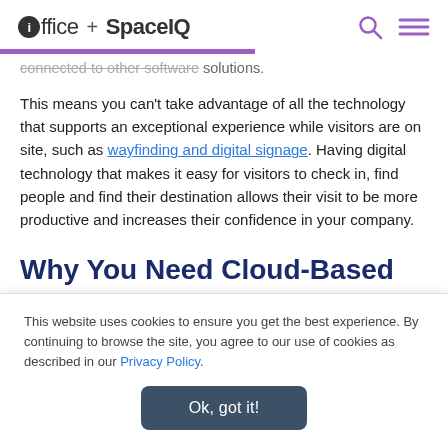ioffice + SpaceIQ
connected to other software solutions.
This means you can't take advantage of all the technology that supports an exceptional experience while visitors are on site, such as wayfinding and digital signage. Having digital technology that makes it easy for visitors to check in, find people and find their destination allows their visit to be more productive and increases their confidence in your company.
Why You Need Cloud-Based
This website uses cookies to ensure you get the best experience. By continuing to browse the site, you agree to our use of cookies as described in our Privacy Policy.